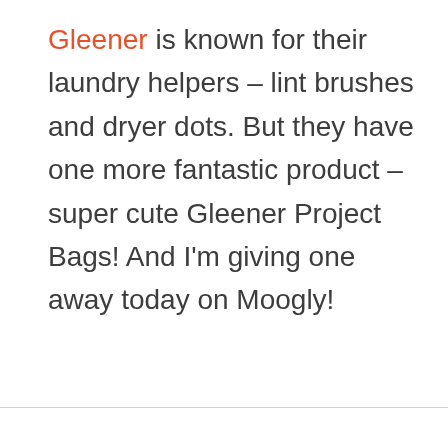Gleener is known for their laundry helpers – lint brushes and dryer dots. But they have one more fantastic product – super cute Gleener Project Bags! And I'm giving one away today on Moogly!